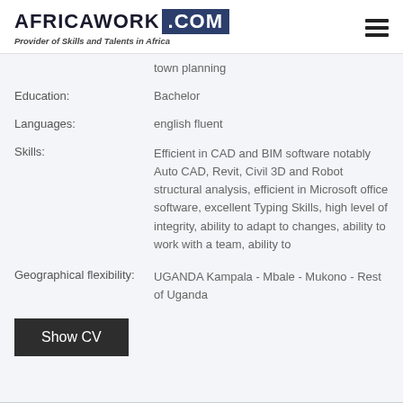AFRICAWORK .COM — Provider of Skills and Talents in Africa
town planning
Education: Bachelor
Languages: english fluent
Skills: Efficient in CAD and BIM software notably Auto CAD, Revit, Civil 3D and Robot structural analysis, efficient in Microsoft office software, excellent Typing Skills, high level of integrity, ability to adapt to changes, ability to work with a team, ability to
Geographical flexibility: UGANDA Kampala - Mbale - Mukono - Rest of Uganda
Show CV